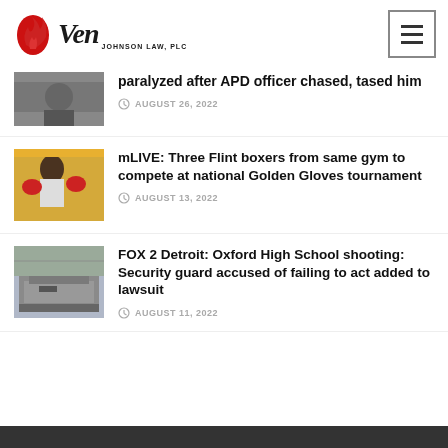Ven Johnson Law, PLC
paralyzed after APD officer chased, tased him
AUGUST 26, 2022
mLIVE: Three Flint boxers from same gym to compete at national Golden Gloves tournament
AUGUST 13, 2022
FOX 2 Detroit: Oxford High School shooting: Security guard accused of failing to act added to lawsuit
AUGUST 11, 2022